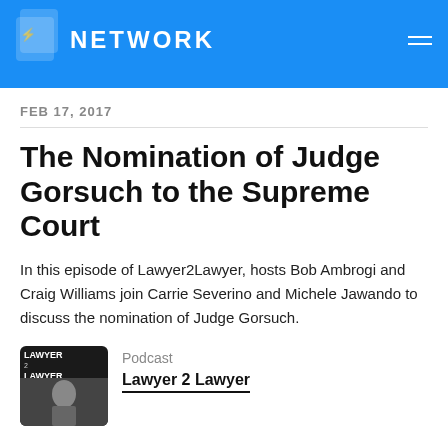NETWORK
FEB 17, 2017
The Nomination of Judge Gorsuch to the Supreme Court
In this episode of Lawyer2Lawyer, hosts Bob Ambrogi and Craig Williams join Carrie Severino and Michele Jawando to discuss the nomination of Judge Gorsuch.
Podcast
Lawyer 2 Lawyer